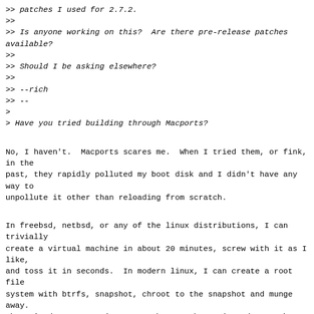>> patches I used for 2.7.2.
>>
>> Is anyone working on this?  Are there pre-release patches available?
>>
>> Should I be asking elsewhere?
>>
>> --rich
>> --
>
> Have you tried building through Macports?

No, I haven't.  Macports scares me.  When I tried them, or fink, in the
past, they rapidly polluted my boot disk and I didn't have any way to
unpollute it other than reloading from scratch.

In freebsd, netbsd, or any of the linux distributions, I can trivially
create a virtual machine in about 20 minutes, screw with it as I like,
and toss it in seconds.  In modern linux, I can create a root file
system with btrfs, snapshot, chroot to the snapshot and munge away.
When I'm done, I can just toss the snapshot.  (Can do snapshots in
vmware too).